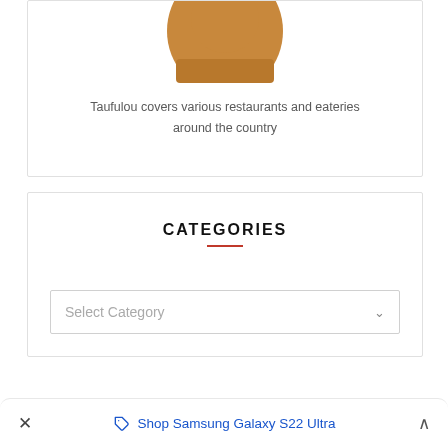[Figure (photo): Circular cropped portrait photo of a person wearing a brown/tan top, shown from shoulders up, cut off at the top of the frame.]
Taufulou covers various restaurants and eateries around the country
CATEGORIES
Select Category
× Shop Samsung Galaxy S22 Ultra ∧